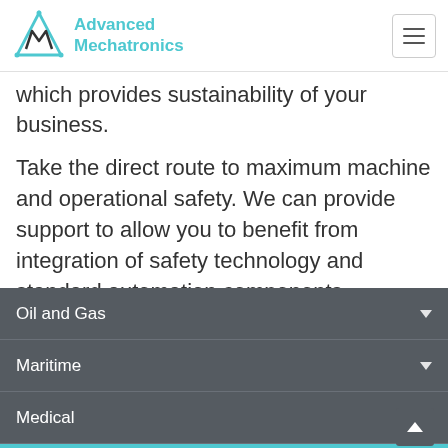Advanced Mechatronics
which provides sustainability of your business.
Take the direct route to maximum machine and operational safety. We can provide support to allow you to benefit from integration of safety technology and standard automation components.
Oil and Gas
Maritime
Medical
Industrial
Tooling machines